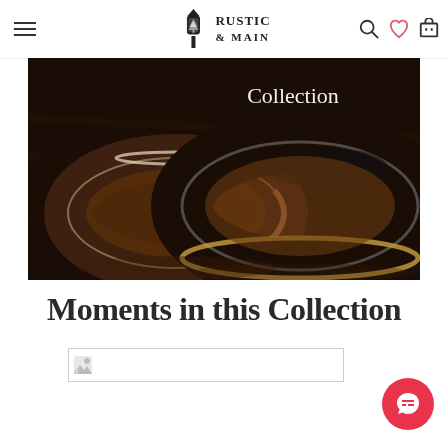Rustic & Main
[Figure (photo): Two wooden wedding rings with metallic inlays on a dark wood surface, with overlaid text 'Collection']
Moments in this Collection
[Figure (photo): Broken/loading image placeholder]
[Figure (other): Red circular chat button with chat icon]